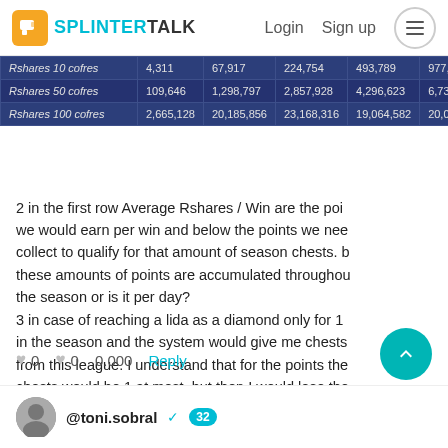SPLINTER TALK — Login  Sign up
|  | col1 | col2 | col3 | col4 | col5 |
| --- | --- | --- | --- | --- | --- |
| Rshares 10 cofres | 4,311 | 67,917 | 224,754 | 493,789 | 977,… |
| Rshares 50 cofres | 109,646 | 1,298,797 | 2,857,928 | 4,296,623 | 6,73… |
| Rshares 100 cofres | 2,665,128 | 20,185,856 | 23,168,316 | 19,064,582 | 20,0… |
2 in the first row Average Rshares / Win are the points we would earn per win and below the points we need collect to qualify for that amount of season chests. b these amounts of points are accumulated throughout the season or is it per day?
3 in case of reaching a lida as a diamond only for 1 in the season and the system would give me chests from this league. I understand that for the points the chests would be 1 at most. but then I would lose the chests of my normal league for example gold or silv…
♥ 0   ♥ 0   0.000   Reply
@toni.sobral ✓  32